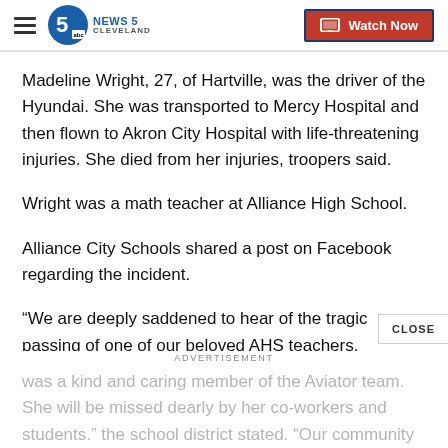NEWS 5 CLEVELAND | Watch Now
Madeline Wright, 27, of Hartville, was the driver of the Hyundai. She was transported to Mercy Hospital and then flown to Akron City Hospital with life-threatening injuries. She died from her injuries, troopers said.
Wright was a math teacher at Alliance High School.
Alliance City Schools shared a post on Facebook regarding the incident.
“We are deeply saddened to hear of the tragic passing of one of our beloved AHS teachers. Madeline Wr[ight] was a kind and caring member of the Aviator team. She will be missed dearly by her co-workers and students.” the school district stated. “Our community…
ADVERTISEMENT